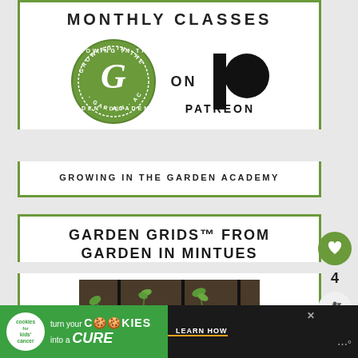MONTHLY CLASSES
[Figure (logo): Growing in the Garden Academy circular badge logo (green) and Patreon logo (black vertical bar with circle), with text ON between them]
GROWING IN THE GARDEN ACADEMY
GARDEN GRIDS™ FROM GARDEN IN MINTUES
[Figure (photo): Photo of seedlings growing in soil with drip irrigation tubing/grid lines visible]
[Figure (other): What's Next panel showing thumbnail and text: Arizona Annual...]
WHAT'S NEXT → Arizona Annual...
[Figure (other): Advertisement banner: cookies for kids' cancer — turn your COOKIES into a CURE LEARN HOW]